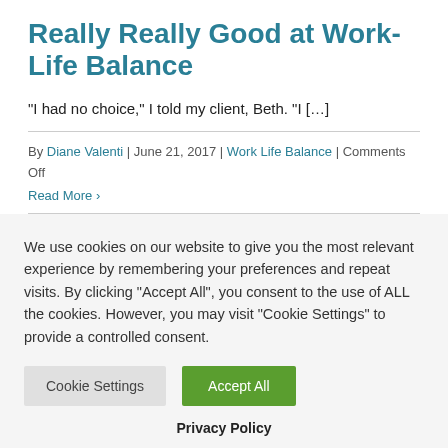Really Really Good at Work-Life Balance
“I had no choice,” I told my client, Beth. “I […]
By Diane Valenti | June 21, 2017 | Work Life Balance | Comments Off
Read More ›
We use cookies on our website to give you the most relevant experience by remembering your preferences and repeat visits. By clicking “Accept All”, you consent to the use of ALL the cookies. However, you may visit "Cookie Settings" to provide a controlled consent.
Privacy Policy